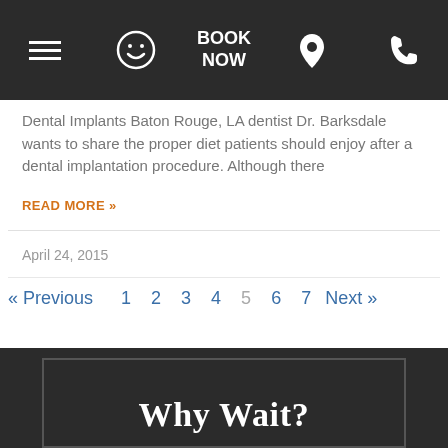[Figure (screenshot): Navigation bar with hamburger menu, smiley face icon, BOOK NOW text, map pin icon, and phone icon on dark background]
Dental Implants Baton Rouge, LA dentist Dr. Barksdale wants to share the proper diet patients should enjoy after a dental implantation procedure. Although there
READ MORE »
April 24, 2015
« Previous  1  2  3  4  5  6  7  Next »
Why Wait?